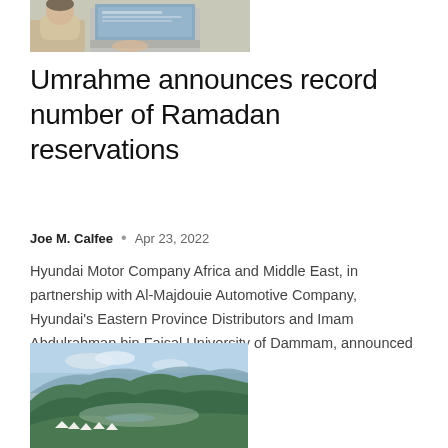[Figure (photo): Person sitting at a laptop computer, partial view from above showing hands on keyboard and screen]
Umrahme announces record number of Ramadan reservations
Joe M. Calfee  •  Apr 23, 2022
Hyundai Motor Company Africa and Middle East, in partnership with Al-Majdouie Automotive Company, Hyundai's Eastern Province Distributors and Imam Abdulrahman bin Faisal University of Dammam, announced the start of the third and final…
[Figure (photo): Mountain landscape with green hills and valley, white tents or structures visible in the foreground]